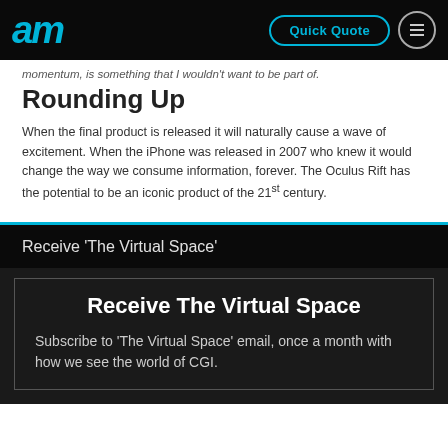am | Quick Quote | menu
momentum, is something that I wouldn't want to be part of.
Rounding Up
When the final product is released it will naturally cause a wave of excitement. When the iPhone was released in 2007 who knew it would change the way we consume information, forever. The Oculus Rift has the potential to be an iconic product of the 21st century.
Receive 'The Virtual Space'
Receive The Virtual Space
Subscribe to 'The Virtual Space' email, once a month with how we see the world of CGI.